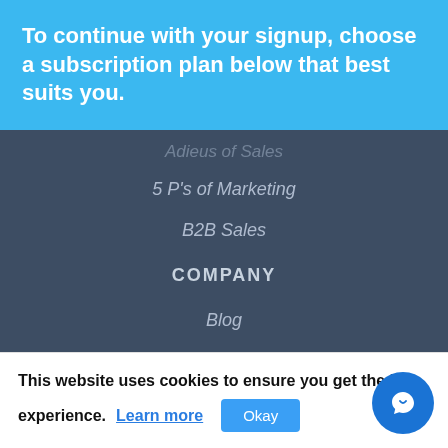To continue with your signup, choose a subscription plan below that best suits you.
5 P's of Marketing
B2B Sales
COMPANY
Blog
Podcasts
About
Support
Partners
This website uses cookies to ensure you get the best experience. Learn more Okay